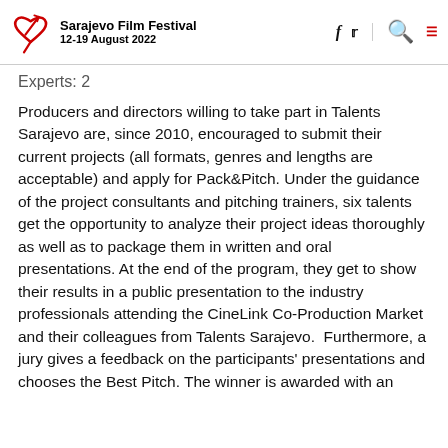Sarajevo Film Festival 12-19 August 2022
Experts: 2
Producers and directors willing to take part in Talents Sarajevo are, since 2010, encouraged to submit their current projects (all formats, genres and lengths are acceptable) and apply for Pack&Pitch. Under the guidance of the project consultants and pitching trainers, six talents get the opportunity to analyze their project ideas thoroughly as well as to package them in written and oral presentations. At the end of the program, they get to show their results in a public presentation to the industry professionals attending the CineLink Co-Production Market and their colleagues from Talents Sarajevo.  Furthermore, a jury gives a feedback on the participants' presentations and chooses the Best Pitch. The winner is awarded with an